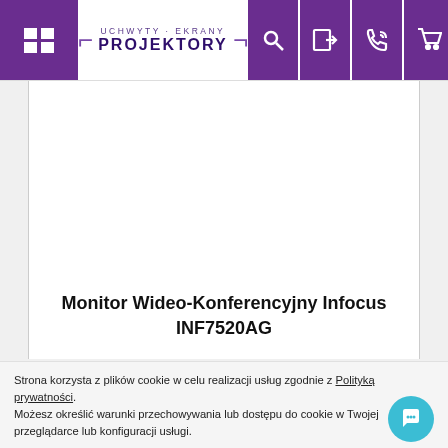UCHWYTY · EKRANY PROJEKTORY
Monitor Wideo-Konferencyjny Infocus INF7520AG
Strona korzysta z plików cookie w celu realizacji usług zgodnie z Polityką prywatności. Możesz określić warunki przechowywania lub dostępu do cookie w Twojej przeglądarce lub konfiguracji usługi.